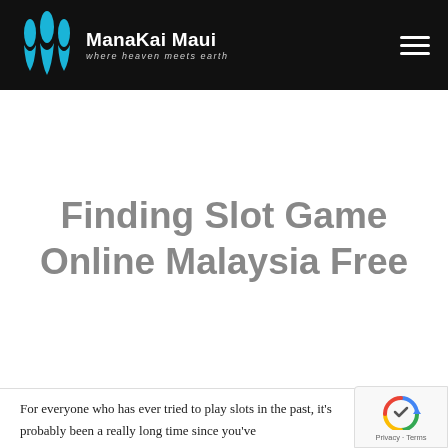Mana Kai Maui — where heaven meets earth
Finding Slot Game Online Malaysia Free
For everyone who has ever tried to play slots in the past, it's probably been a really long time since you've